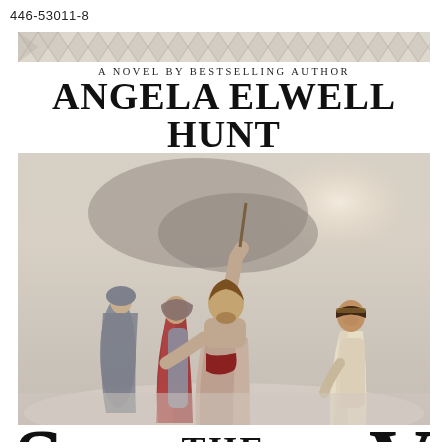446-53011-8
[Figure (illustration): Book cover for a novel by bestselling author Angela Elwell Hunt. The cover features a decorative diamond/zigzag border at the top, followed by the author name in large serif text. Below is an illustrated scene showing three figures: a central male figure in robes with one arm raised holding a staff, a woman in a red cloak to his left, and another woman in a white/cream garment to his right. The background is a misty, dramatic sky. At the bottom the word THE is visible along with the beginning of the book title, a large S on the left and V on the right partially cut off, with a dark grey bar overlaying the center bottom.]